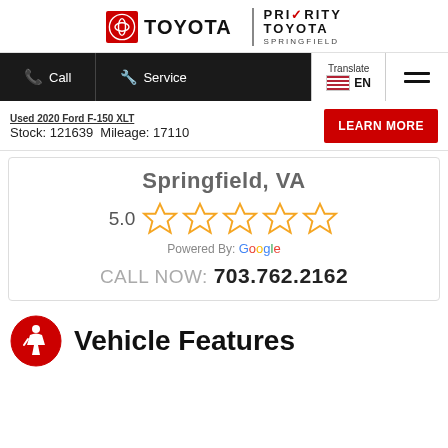[Figure (logo): Toyota logo with Priority Toyota Springfield branding]
Call   Service   Translate EN
Used 2020 Ford F-150 XLT
Stock: 121639  Mileage: 17110
LEARN MORE
Springfield, VA
[Figure (other): 5.0 star rating with 5 gold stars, Powered By: Google]
CALL NOW: 703.762.2162
Vehicle Features